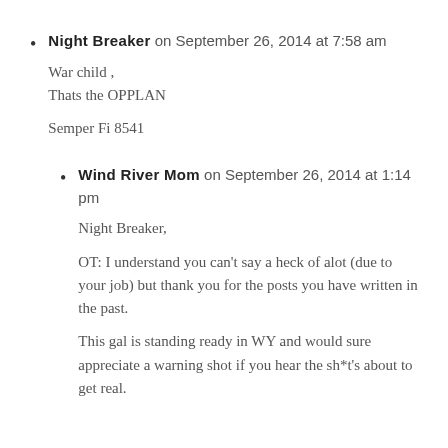Night Breaker on September 26, 2014 at 7:58 am
War child ,
Thats the OPPLAN

Semper Fi 8541
Wind River Mom on September 26, 2014 at 1:14 pm
Night Breaker,

OT: I understand you can't say a heck of alot (due to your job) but thank you for the posts you have written in the past.

This gal is standing ready in WY and would sure appreciate a warning shot if you hear the sh*t's about to get real.